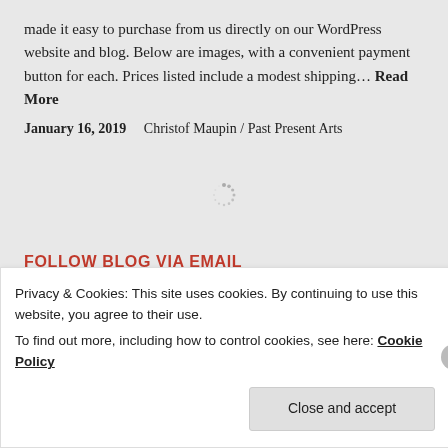made it easy to purchase from us directly on our WordPress website and blog. Below are images, with a convenient payment button for each. Prices listed include a modest shipping… Read More
January 16, 2019    Christof Maupin / Past Present Arts
[Figure (other): Loading spinner icon]
FOLLOW BLOG VIA EMAIL
Privacy & Cookies: This site uses cookies. By continuing to use this website, you agree to their use.
To find out more, including how to control cookies, see here: Cookie Policy
Close and accept